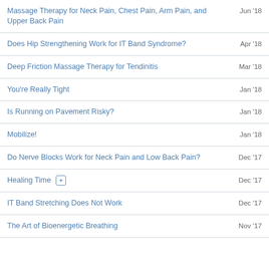Massage Therapy for Neck Pain, Chest Pain, Arm Pain, and Upper Back Pain
Does Hip Strengthening Work for IT Band Syndrome?
Deep Friction Massage Therapy for Tendinitis
You're Really Tight
Is Running on Pavement Risky?
Mobilize!
Do Nerve Blocks Work for Neck Pain and Low Back Pain?
Healing Time [+]
IT Band Stretching Does Not Work
The Art of Bioenergetic Breathing